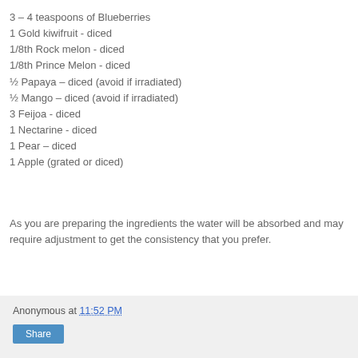3 – 4 teaspoons of Blueberries
1 Gold kiwifruit - diced
1/8th Rock melon - diced
1/8th Prince Melon - diced
½ Papaya – diced (avoid if irradiated)
½ Mango – diced (avoid if irradiated)
3 Feijoa - diced
1 Nectarine - diced
1 Pear – diced
1 Apple (grated or diced)
As you are preparing the ingredients the water will be absorbed and may require adjustment to get the consistency that you prefer.
Anonymous at 11:52 PM  Share